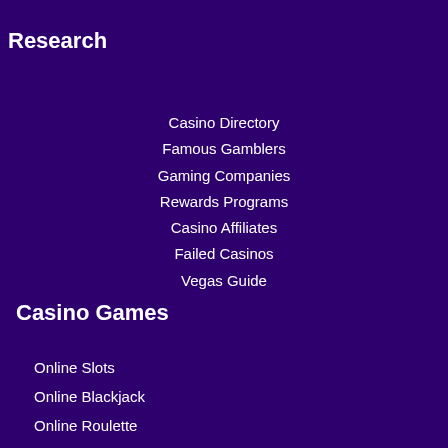Research
Casino Directory
Famous Gamblers
Gaming Companies
Rewards Programs
Casino Affiliates
Failed Casinos
Vegas Guide
Casino Games
Online Slots
Online Blackjack
Online Roulette
Online Video Poker
Online Craps
Online Keno
Online Sports Betting